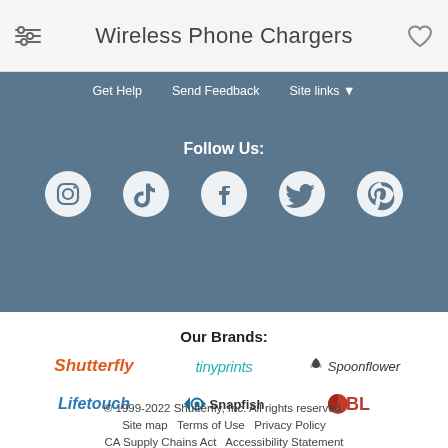Wireless Phone Chargers
Get Help   Send Feedback   Site links ▼
Follow Us:
[Figure (illustration): Social media icons: Instagram, TikTok, Facebook, Twitter, Pinterest — white circles on blue background]
Our Brands:
Shutterfly   tinyprints   Spoonflower
Lifetouch   Snapfish   BL
© 1999-2022 Shutterfly, Inc. All rights reserved.
Site map   Terms of Use   Privacy Policy
CA Supply Chains Act   Accessibility Statement